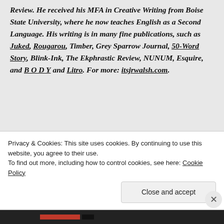Review. He received his MFA in Creative Writing from Boise State University, where he now teaches English as a Second Language. His writing is in many fine publications, such as Juked, Rougarou, Timber, Grey Sparrow Journal, 50-Word Story, Blink-Ink, The Ekphrastic Review, NUNUM, Esquire, and B O D Y and Litro. For more: itsjrwalsh.com.
[Figure (photo): Headshot photo of Cathy Ulrich, a woman with dark hair]
Cathy Ulrich is the founding editor of Milk Candy Review.
Privacy & Cookies: This site uses cookies. By continuing to use this website, you agree to their use.
To find out more, including how to control cookies, see here: Cookie Policy